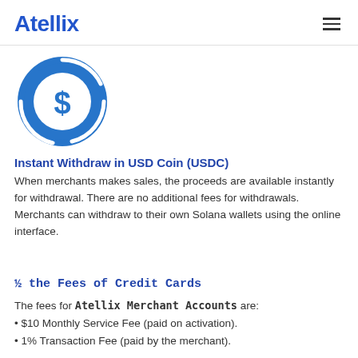Atellix
[Figure (logo): USDC (USD Coin) logo — blue circle with white dollar sign and circular arrow ring]
Instant Withdraw in USD Coin (USDC)
When merchants makes sales, the proceeds are available instantly for withdrawal. There are no additional fees for withdrawals. Merchants can withdraw to their own Solana wallets using the online interface.
½ the Fees of Credit Cards
The fees for Atellix Merchant Accounts are:
• $10 Monthly Service Fee (paid on activation).
• 1% Transaction Fee (paid by the merchant).